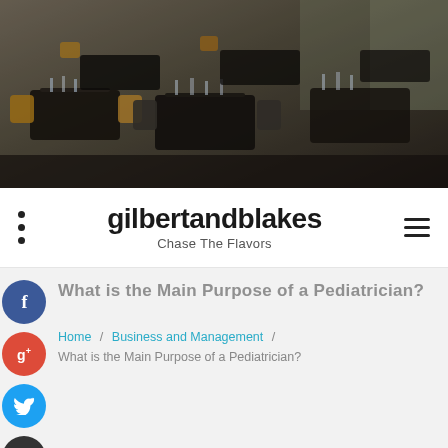[Figure (photo): Hero banner image of a modern restaurant interior with dark furniture, set tables with glassware, and ambient lighting.]
gilbertandblakes
Chase The Flavors
What is the Main Purpose of a Pediatrician?
Home / Business and Management / What is the Main Purpose of a Pediatrician?